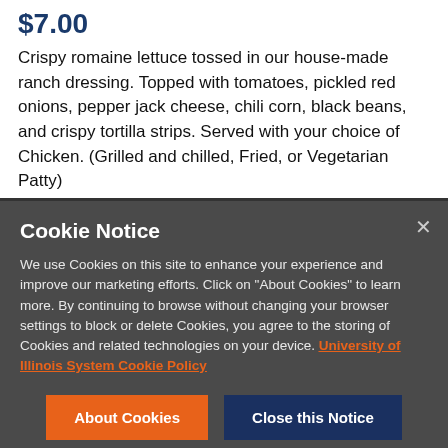$7.00
Crispy romaine lettuce tossed in our house-made ranch dressing. Topped with tomatoes, pickled red onions, pepper jack cheese, chili corn, black beans, and crispy tortilla strips. Served with your choice of Chicken. (Grilled and chilled, Fried, or Vegetarian Patty)
Cookie Notice
We use Cookies on this site to enhance your experience and improve our marketing efforts. Click on "About Cookies" to learn more. By continuing to browse without changing your browser settings to block or delete Cookies, you agree to the storing of Cookies and related technologies on your device. University of Illinois System Cookie Policy
About Cookies
Close this Notice